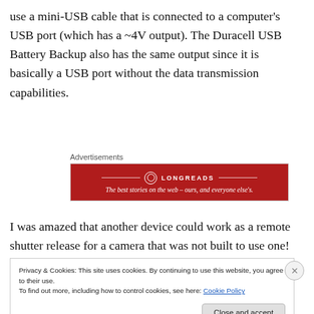use a mini-USB cable that is connected to a computer's USB port (which has a ~4V output). The Duracell USB Battery Backup also has the same output since it is basically a USB port without the data transmission capabilities.
[Figure (other): Longreads advertisement banner: red background with Longreads logo and tagline 'The best stories on the web – ours, and everyone else's.']
I was amazed that another device could work as a remote shutter release for a camera that was not built to use one!
Privacy & Cookies: This site uses cookies. By continuing to use this website, you agree to their use.
To find out more, including how to control cookies, see here: Cookie Policy
Close and accept